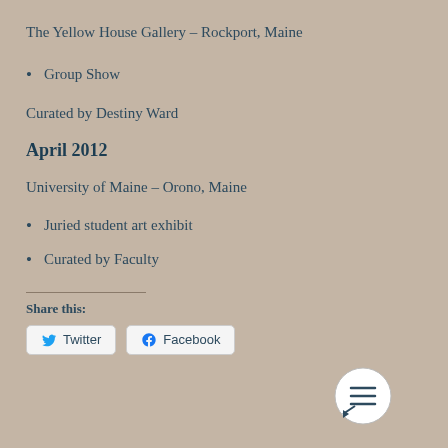The Yellow House Gallery – Rockport, Maine
Group Show
Curated by Destiny Ward
April 2012
University of Maine – Orono, Maine
Juried student art exhibit
Curated by Faculty
Share this:
Twitter  Facebook